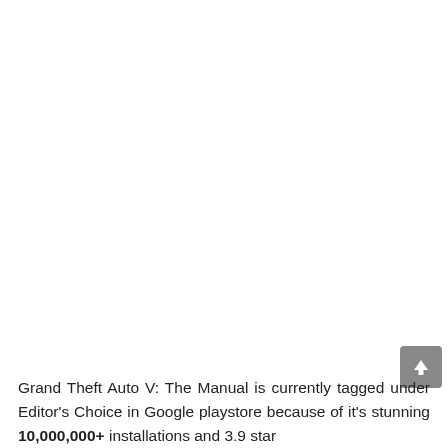Grand Theft Auto V: The Manual is currently tagged under Editor's Choice in Google playstore because of it's stunning 10,000,000+ installations and 3.9 star